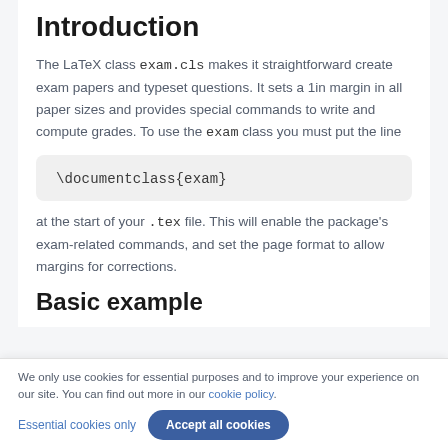Introduction
The LaTeX class exam.cls makes it straightforward create exam papers and typeset questions. It sets a 1in margin in all paper sizes and provides special commands to write and compute grades. To use the exam class you must put the line
at the start of your .tex file. This will enable the package's exam-related commands, and set the page format to allow margins for corrections.
Basic example
We only use cookies for essential purposes and to improve your experience on our site. You can find out more in our cookie policy.
Essential cookies only   Accept all cookies